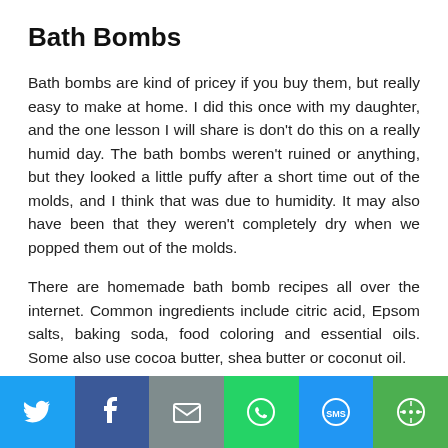Bath Bombs
Bath bombs are kind of pricey if you buy them, but really easy to make at home. I did this once with my daughter, and the one lesson I will share is don't do this on a really humid day. The bath bombs weren't ruined or anything, but they looked a little puffy after a short time out of the molds, and I think that was due to humidity. It may also have been that they weren't completely dry when we popped them out of the molds.
There are homemade bath bomb recipes all over the internet. Common ingredients include citric acid, Epsom salts, baking soda, food coloring and essential oils. Some also use cocoa butter, shea butter or coconut oil.
There's a lot of flexibility when it comes to ingredients. The citric acid and baking soda are what cause the fizzing by reacting with each other in water. Pretty much any other ingredient is up to you, just make sure you aren't getting the citric acid and baking
[Figure (infographic): Social media share bar with six buttons: Twitter (blue), Facebook (dark blue), Email (gray), WhatsApp (green), SMS (blue), More (green)]